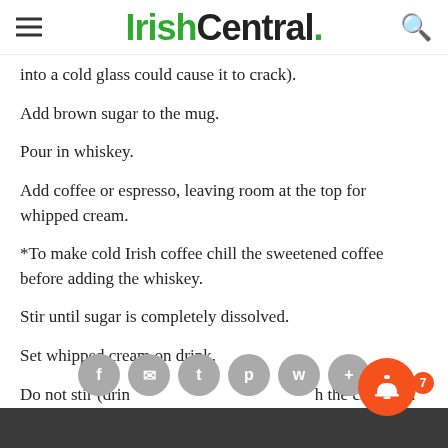IrishCentral.
into a cold glass could cause it to crack).
Add brown sugar to the mug.
Pour in whiskey.
Add coffee or espresso, leaving room at the top for whipped cream.
*To make cold Irish coffee chill the sweetened coffee before adding the whiskey.
Stir until sugar is completely dissolved.
Set whipped cream on drink.
Do not stir (drink stays layered/flowing with the cream on top).